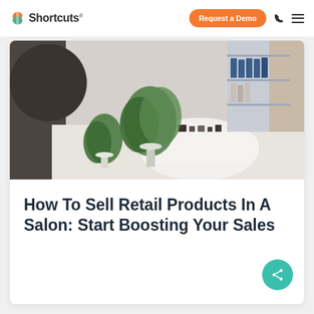Shortcuts — Request a Demo
[Figure (photo): Interior of a modern salon with a round white reception desk, plants, and product shelves in the background]
How To Sell Retail Products In A Salon: Start Boosting Your Sales